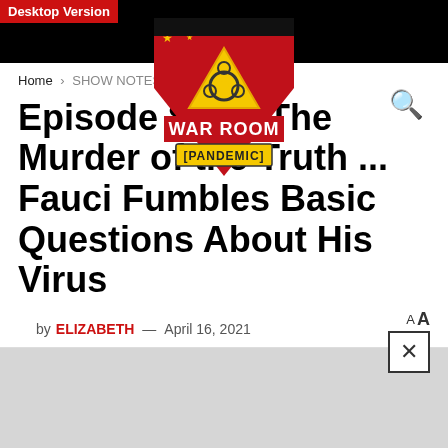Desktop Version | War Room Pandemic logo | hamburger menu | search icon
Home › SHOW NOTES
Episode 878 – The Murder of the Truth ... Fauci Fumbles Basic Questions About His Virus
by ELIZABETH — April 16, 2021